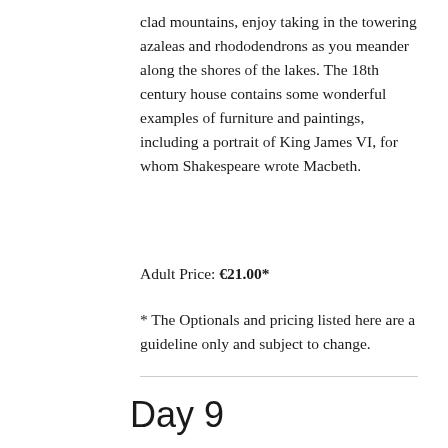clad mountains, enjoy taking in the towering azaleas and rhododendrons as you meander along the shores of the lakes. The 18th century house contains some wonderful examples of furniture and paintings, including a portrait of King James VI, for whom Shakespeare wrote Macbeth.
Adult Price: €21.00*
* The Optionals and pricing listed here are a guideline only and subject to change.
Day 9